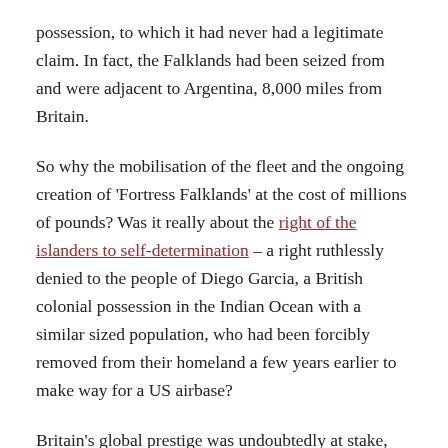possession, to which it had never had a legitimate claim. In fact, the Falklands had been seized from and were adjacent to Argentina, 8,000 miles from Britain.
So why the mobilisation of the fleet and the ongoing creation of 'Fortress Falklands' at the cost of millions of pounds? Was it really about the right of the islanders to self-determination – a right ruthlessly denied to the people of Diego Garcia, a British colonial possession in the Indian Ocean with a similar sized population, who had been forcibly removed from their homeland a few years earlier to make way for a US airbase?
Britain's global prestige was undoubtedly at stake, and,